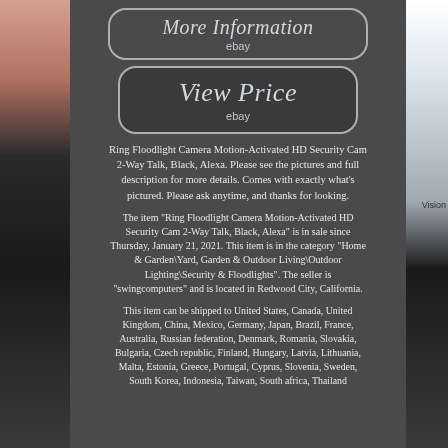[Figure (photo): Left side vertical strip showing a finger/skin texture at top and a black security camera at bottom]
[Figure (photo): Right side vertical strip showing a phone/screen at top and a black camera device at bottom, with text 'Vision']
More Information
ebay
View Price
ebay
Ring Floodlight Camera Motion-Activated HD Security Cam 2-Way Talk, Black, Alexa. Please see the pictures and full description for more details. Comes with exactly what's pictured. Please ask anytime, and thanks for looking.
The item "Ring Floodlight Camera Motion-Activated HD Security Cam 2-Way Talk, Black, Alexa" is in sale since Thursday, January 21, 2021. This item is in the category "Home & Garden\Yard, Garden & Outdoor Living\Outdoor Lighting\Security & Floodlights". The seller is "swingcomputers" and is located in Redwood City, California.
This item can be shipped to United States, Canada, United Kingdom, China, Mexico, Germany, Japan, Brazil, France, Australia, Russian federation, Denmark, Romania, Slovakia, Bulgaria, Czech republic, Finland, Hungary, Latvia, Lithuania, Malta, Estonia, Greece, Portugal, Cyprus, Slovenia, Sweden, South Korea, Indonesia, Taiwan, South africa, Thailand